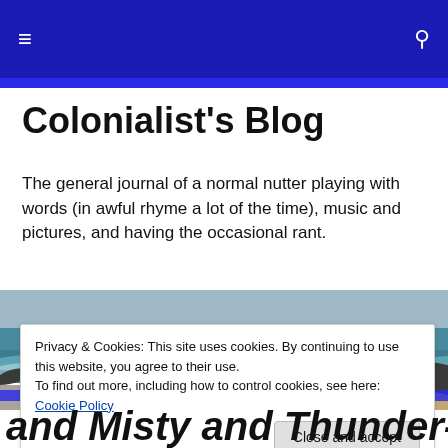≡  🔍
Colonialist's Blog
The general journal of a normal nutter playing with words (in awful rhyme a lot of the time), music and pictures, and having the occasional rant.
[Figure (photo): Coastal ocean scene with waves, rocky shoreline, and overcast sky]
Privacy & Cookies: This site uses cookies. By continuing to use this website, you agree to their use.
To find out more, including how to control cookies, see here: Cookie Policy
Close and accept
and Misty and Thunder-Stormy